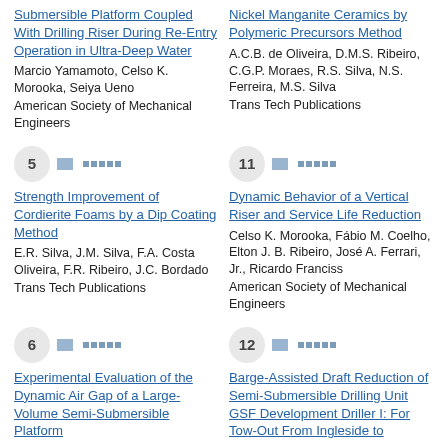Submersible Platform Coupled With Drilling Riser During Re-Entry Operation in Ultra-Deep Water
Marcio Yamamoto, Celso K. Morooka, Seiya Ueno
American Society of Mechanical Engineers
Nickel Manganite Ceramics by Polymeric Precursors Method
A.C.B. de Oliveira, D.M.S. Ribeiro, C.G.P. Moraes, R.S. Silva, N.S. Ferreira, M.S. Silva
Trans Tech Publications
5
Strength Improvement of Cordierite Foams by a Dip Coating Method
E.R. Silva, J.M. Silva, F.A. Costa Oliveira, F.R. Ribeiro, J.C. Bordado
Trans Tech Publications
11
Dynamic Behavior of a Vertical Riser and Service Life Reduction
Celso K. Morooka, Fábio M. Coelho, Elton J. B. Ribeiro, José A. Ferrari, Jr., Ricardo Franciss
American Society of Mechanical Engineers
6
Experimental Evaluation of the Dynamic Air Gap of a Large-Volume Semi-Submersible Platform
12
Barge-Assisted Draft Reduction of Semi-Submersible Drilling Unit GSF Development Driller I: For Tow-Out From Ingleside to